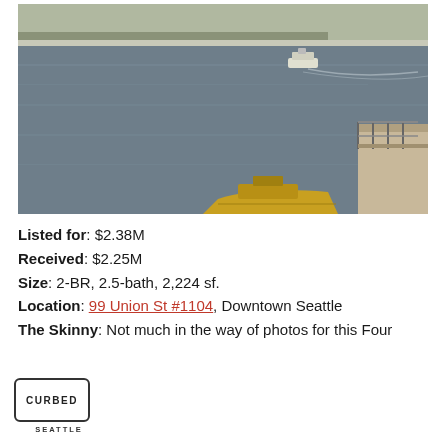[Figure (photo): Aerial or elevated view of Puget Sound with a ferry boat on the water, distant tree-lined shore in background, and edge of a modern building with glass railing visible at lower right. Yellow barge or boat in foreground.]
Listed for: $2.38M
Received: $2.25M
Size: 2-BR, 2.5-bath, 2,224 sf.
Location: 99 Union St #1104, Downtown Seattle
The Skinny: Not much in the way of photos for this Four
[Figure (logo): Curbed Seattle logo — hexagonal/rounded rectangle border with CURBED in bold caps and SEATTLE below in spaced caps.]